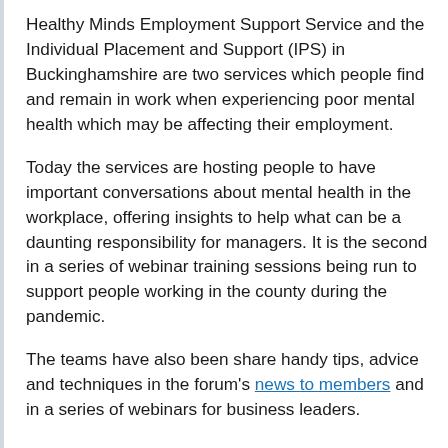Healthy Minds Employment Support Service and the Individual Placement and Support (IPS) in Buckinghamshire are two services which people find and remain in work when experiencing poor mental health which may be affecting their employment.
Today the services are hosting people to have important conversations about mental health in the workplace, offering insights to help what can be a daunting responsibility for managers. It is the second in a series of webinar training sessions being run to support people working in the county during the pandemic.
The teams have also been share handy tips, advice and techniques in the forum's news to members and in a series of webinars for business leaders.